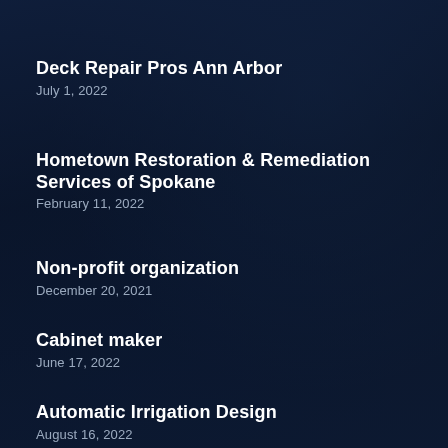Deck Repair Pros Ann Arbor
July 1, 2022
Hometown Restoration & Remediation Services of Spokane
February 11, 2022
Non-profit organization
December 20, 2021
Cabinet maker
June 17, 2022
Automatic Irrigation Design
August 16, 2022